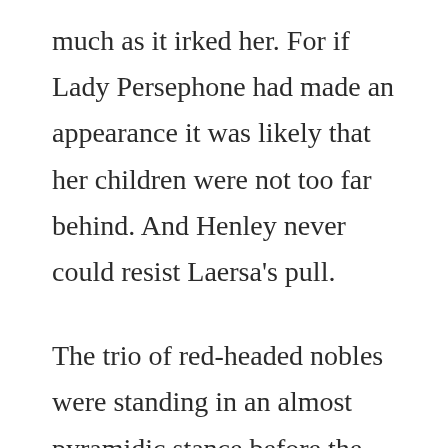much as it irked her. For if Lady Persephone had made an appearance it was likely that her children were not too far behind. And Henley never could resist Laersa's pull.
The trio of red-headed nobles were standing in an almost pyramidic stance before the current royal couple (not new, neither of them were new to this, though everyone was acting as if they'd never seen Henley's mother